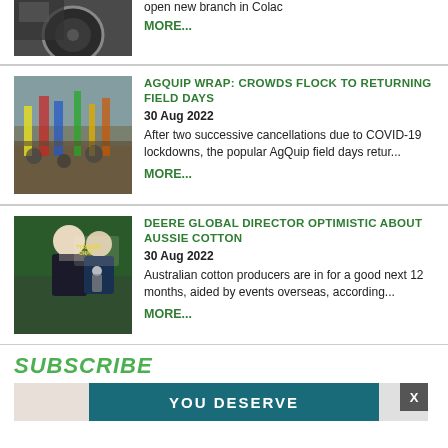[Figure (photo): Two men near a large tractor tyre, partially visible at top]
open new branch in Colac
MORE...
[Figure (photo): Crowd of people at outdoor agricultural field days event with mud and banners]
AGQUIP WRAP: CROWDS FLOCK TO RETURNING FIELD DAYS
30 Aug 2022
After two successive cancellations due to COVID-19 lockdowns, the popular AgQuip field days retur...
MORE...
[Figure (photo): Two men seated on stage at a Tyreside Chat event in front of a green machine]
DEERE GLOBAL DIRECTOR OPTIMISTIC ABOUT AUSSIE COTTON
30 Aug 2022
Australian cotton producers are in for a good next 12 months, aided by events overseas, according...
MORE...
SUBSCRIBE
YOU DESERVE